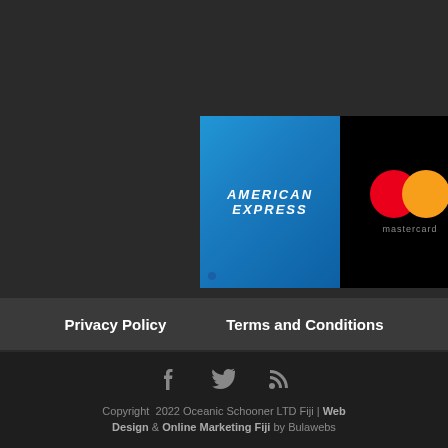[Figure (logo): Payment method logos: American Express (blue card), Mastercard (black card with red and orange overlapping circles), and Visa (dark blue italic text on white background)]
Privacy Policy   Terms and Conditions
Copyright 2022 Oceanic Schooner LTD Fiji | Web Design & Online Marketing Fiji by Bulawebs